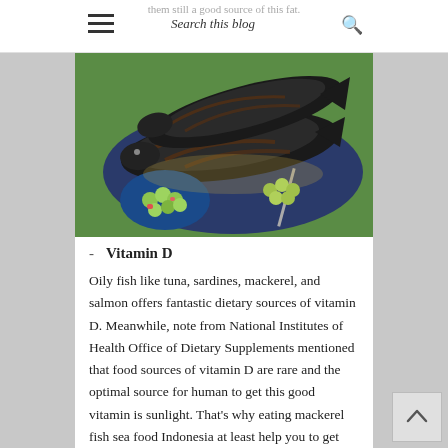them still a good source of this fat.
Search this blog
[Figure (photo): A plate of whole grilled mackerel fish with a side salad of green grapes and vegetables on a blue plate, with green background]
- Vitamin D
Oily fish like tuna, sardines, mackerel, and salmon offers fantastic dietary sources of vitamin D. Meanwhile, note from National Institutes of Health Office of Dietary Supplements mentioned that food sources of vitamin D are rare and the optimal source for human to get this good vitamin is sunlight. That's why eating mackerel fish sea food Indonesia at least help you to get vitamin D intake every day especially if you do not have time to catch their in the ocean view. Some of